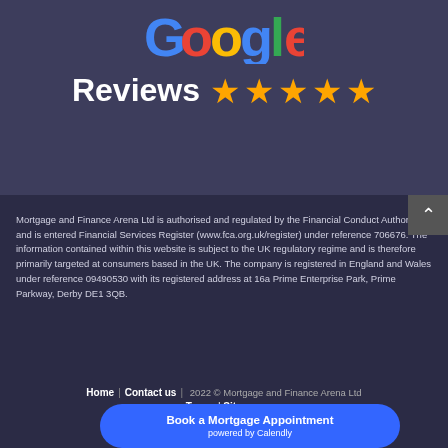[Figure (logo): Google logo (multicolor: blue, red, yellow, green letters) partially cropped at top]
Reviews ★★★★★
Mortgage and Finance Arena Ltd is authorised and regulated by the Financial Conduct Authority and is entered Financial Services Register (www.fca.org.uk/register) under reference 706676. The information contained within this website is subject to the UK regulatory regime and is therefore primarily targeted at consumers based in the UK. The company is registered in England and Wales under reference 09490530 with its registered address at 16a Prime Enterprise Park, Prime Parkway, Derby DE1 3QB.
Home | Contact us | 2022 © Mortgage and Finance Arena Ltd Terms | Sitemap Book a Mortgage Appointment powered by Calendly